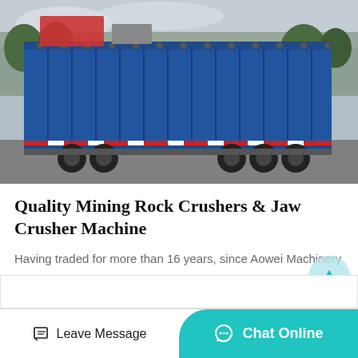[Figure (photo): A large blue flatbed/cargo truck photographed from the side, loaded with heavy machinery equipment. Outdoor setting with trees/cloudy sky visible in background.]
Quality Mining Rock Crushers & Jaw Crusher Machine
Having traded for more than 16 years, since Aowei Machinery establishment date, we have completed hundreds of projects, especially in the field of Vibration Feeder, Jaw Crusher, Single…
Consult Now
Leave Message
Chat Online